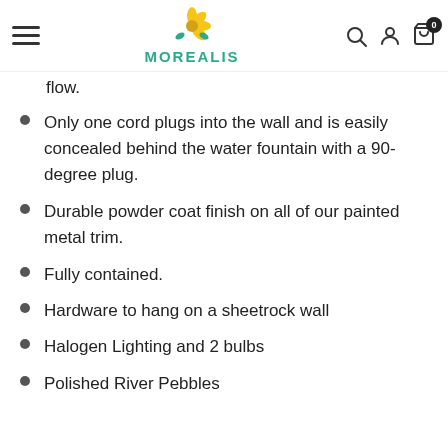MOREALIS
flow.
Only one cord plugs into the wall and is easily concealed behind the water fountain with a 90-degree plug.
Durable powder coat finish on all of our painted metal trim.
Fully contained.
Hardware to hang on a sheetrock wall
Halogen Lighting and 2 bulbs
Polished River Pebbles